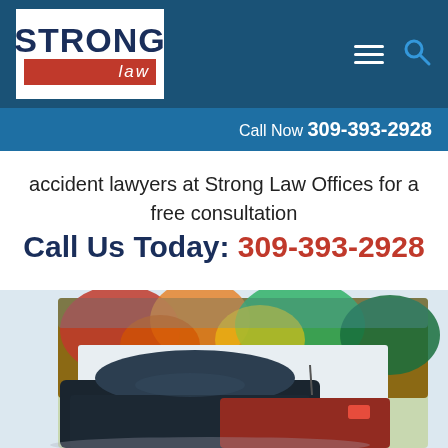STRONG law — Call Now 309-393-2928
accident lawyers at Strong Law Offices for a free consultation
Call Us Today: 309-393-2928
[Figure (photo): Car accident scene showing two cars, one dark blue, one red, in front of autumn foliage with red, orange, and green leaves]